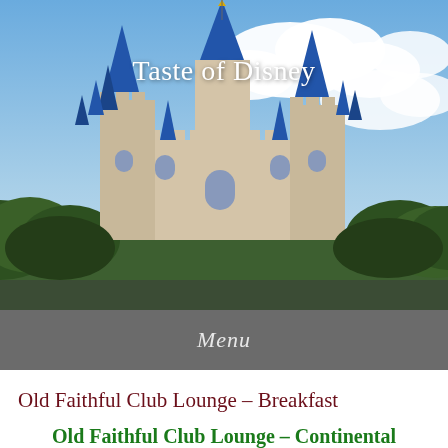[Figure (photo): Cinderella Castle at Disney World with blue sky and clouds in background]
Taste of Disney
Menu
Old Faithful Club Lounge – Breakfast
Old Faithful Club Lounge – Continental Breakfast